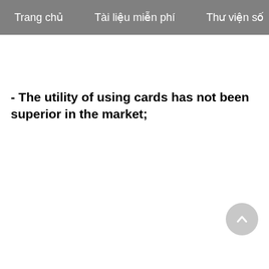Trang chủ   Tài liệu miễn phí   Thư viện số
-  The utility of using cards has not been superior in the market;